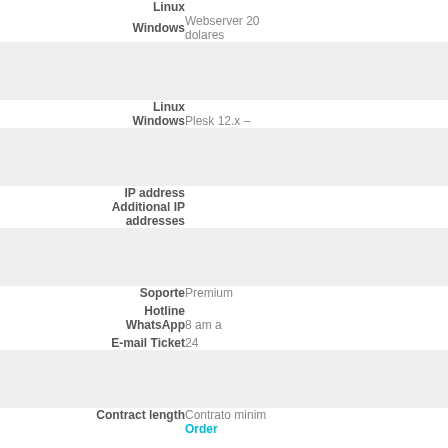| Feature | Value |
| --- | --- |
| Linux |  |
| Windows | Webserver 20 dolares |
|  |  |
| Linux |  |
| Windows | Plesk 12.x – |
|  |  |
| IP address |  |
| Additional IP addresses |  |
|  |  |
| Soporte | Premium |
| Hotline |  |
| WhatsApp | 8 am a |
| E-mail Ticket | 24 |
|  |  |
| Contract length | Contrato minim |
| Order |  |